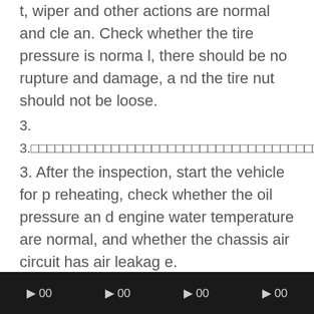t, wiper and other actions are normal and clean. Check whether the tire pressure is normal, there should be no rupture and damage, and the tire nut should not be loose.
3.（Chinese text）
3. After the inspection, start the vehicle for preheating, check whether the oil pressure and engine water temperature are normal, and whether the chassis air circuit has air leakage.
4.（Chinese text with 30S）
（页码） （页码） （页码） （页码）